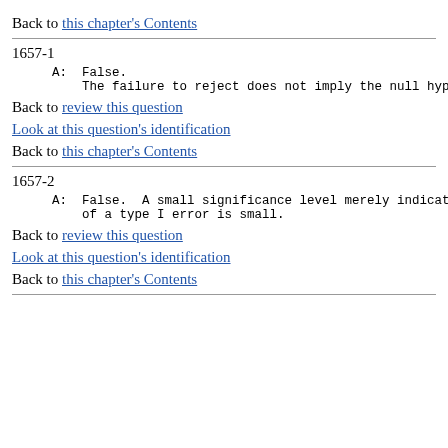Back to this chapter's Contents
1657-1
A:  False.
    The failure to reject does not imply the null hyp
Back to review this question
Look at this question's identification
Back to this chapter's Contents
1657-2
A:  False.  A small significance level merely indicat
    of a type I error is small.
Back to review this question
Look at this question's identification
Back to this chapter's Contents